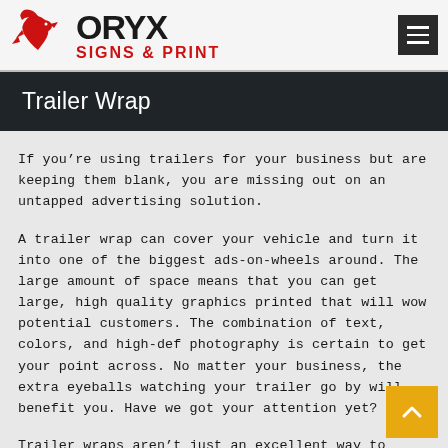ORYX SIGNS & PRINT
Trailer Wrap
If you’re using trailers for your business but are keeping them blank, you are missing out on an untapped advertising solution.
A trailer wrap can cover your vehicle and turn it into one of the biggest ads-on-wheels around. The large amount of space means that you can get large, high quality graphics printed that will wow potential customers. The combination of text, colors, and high-def photography is certain to get your point across. No matter your business, the extra eyeballs watching your trailer go by will benefit you. Have we got your attention yet?
Trailer wraps aren’t just an excellent way to maximize the amount of space that you have to advertise your business. They are also a way to